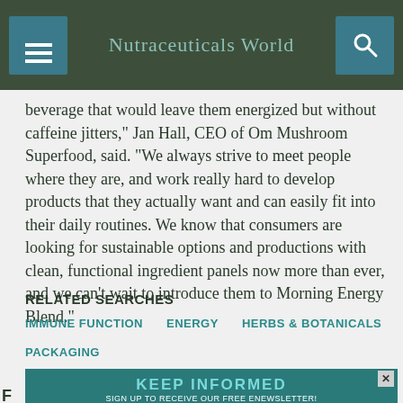Nutraceuticals World
beverage that would leave them energized but without caffeine jitters," Jan Hall, CEO of Om Mushroom Superfood, said. "We always strive to meet people where they are, and work really hard to develop products that they actually want and can easily fit into their daily routines. We know that consumers are looking for sustainable options and productions with clean, functional ingredient panels now more than ever, and we can't wait to introduce them to Morning Energy Blend."
RELATED SEARCHES
IMMUNE FUNCTION
ENERGY
HERBS & BOTANICALS
PACKAGING
[Figure (infographic): Ad banner: KEEP INFORMED - SIGN UP TO RECEIVE OUR FREE ENEWSLETTER! NUTRACEUTICALS WORLD MAGAZINE]